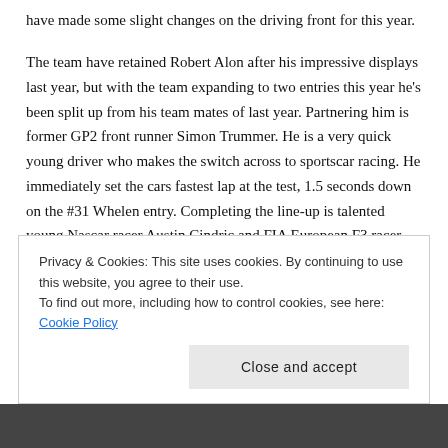have made some slight changes on the driving front for this year.
The team have retained Robert Alon after his impressive displays last year, but with the team expanding to two entries this year he's been split up from his team mates of last year. Partnering him is former GP2 front runner Simon Trummer. He is a very quick young driver who makes the switch across to sportscar racing. He immediately set the cars fastest lap at the test, 1.5 seconds down on the #31 Whelen entry. Completing the line-up is talented young Nascar racer Austin Cindric and FIA European F3 racer Devlin DeFrancesco. The team are prime candidates for a giant-killing act this year, so keep an eye on their progress in the race.
Privacy & Cookies: This site uses cookies. By continuing to use this website, you agree to their use.
To find out more, including how to control cookies, see here: Cookie Policy
Close and accept